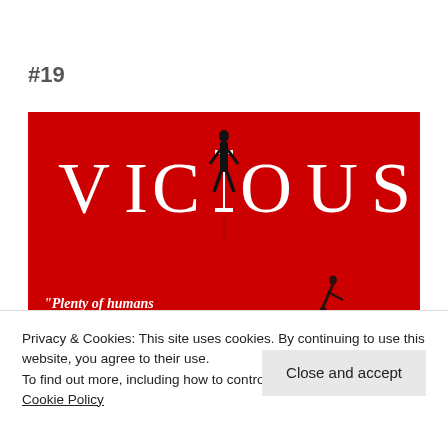#19
[Figure (illustration): Book cover for 'Vicious' — red background with large white letter-spaced title 'VICIOUS' and a black silhouette of a standing figure integrated into the letter 'I'. A quote reads: "Plenty of humans were monstrous,"]
Privacy & Cookies: This site uses cookies. By continuing to use this website, you agree to their use.
To find out more, including how to control cookies, see here: Cookie Policy
Close and accept